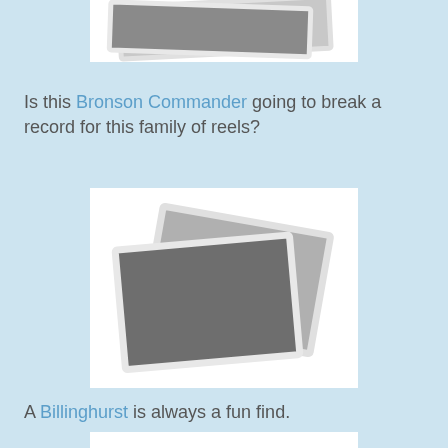[Figure (photo): Placeholder image showing stacked photo cards at the top of the page (partially cropped)]
Is this Bronson Commander going to break a record for this family of reels?
[Figure (photo): Placeholder image showing two overlapping photo cards (fishing reel image placeholder)]
A Billinghurst is always a fun find.
[Figure (photo): Partially visible placeholder image at the bottom of the page]